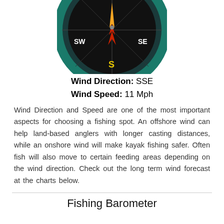[Figure (illustration): Partial compass rose showing SW and SE labels, S at bottom in yellow, with orange and red compass needle pointing upward, on dark teal/black background]
Wind Direction:  SSE
Wind Speed:  11 Mph
Wind Direction and Speed are one of the most important aspects for choosing a fishing spot. An offshore wind can help land-based anglers with longer casting distances, while an onshore wind will make kayak fishing safer. Often fish will also move to certain feeding areas depending on the wind direction. Check out the long term wind forecast at the charts below.
Fishing Barometer
[Figure (illustration): Partial fishing barometer dial showing numbered scale from 29 to 30+ around the rim in yellow, with colored sections (blue, green, gray) and a red needle, labeled CHANGE at bottom]